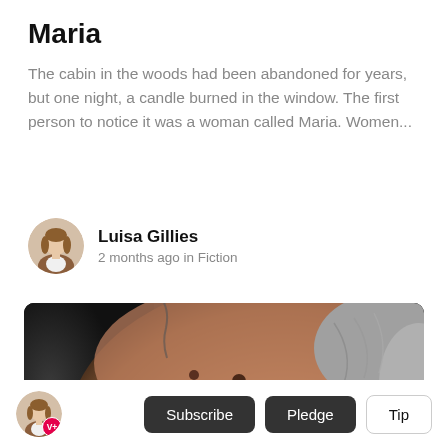Maria
The cabin in the woods had been abandoned for years, but one night, a candle burned in the window. The first person to notice it was a woman called Maria. Women...
Luisa Gillies
2 months ago in Fiction
[Figure (photo): Close-up photo of an elderly man's face with grey hair, visible skin moles on forehead, against a dark background]
[Figure (other): Bottom navigation bar with user avatar with V+ badge, Subscribe button, Pledge button, and Tip button]